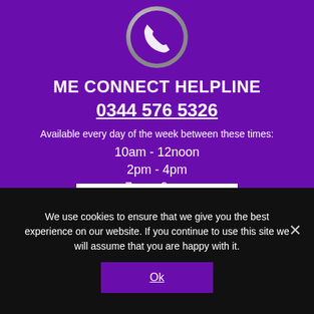[Figure (logo): Purple circular phone/telephone icon with white handset graphic, silver/white ring border on purple background]
ME CONNECT HELPLINE
0344 576 5326
Available every day of the week between these times:
10am - 12noon
2pm - 4pm
7pm - 9pm.
FIND OUT MORE
We use cookies to ensure that we give you the best experience on our website. If you continue to use this site we will assume that you are happy with it.
Ok